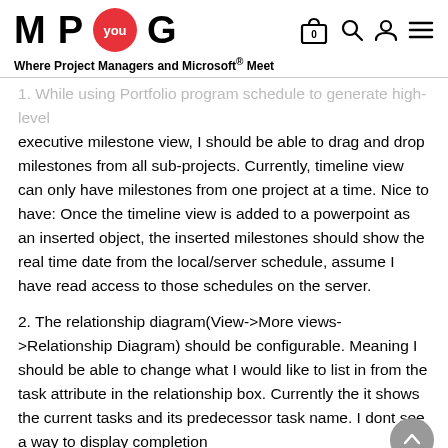M P you G — Where Project Managers and Microsoft® Meet
1. While using Portfolio program schedule to generate high-level executive milestone view, I should be able to drag and drop milestones from all sub-projects. Currently, timeline view can only have milestones from one project at a time. Nice to have: Once the timeline view is added to a powerpoint as an inserted object, the inserted milestones should show the real time date from the local/server schedule, assume I have read access to those schedules on the server.
2. The relationship diagram(View->More views->Relationship Diagram) should be configurable. Meaning I should be able to change what I would like to list in from the task attribute in the relationship box. Currently the it shows the current tasks and its predecessor task name. I dont see a way to display completion